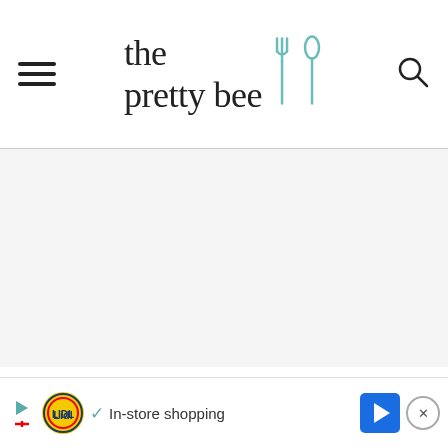the pretty bee
[Figure (other): Large blank/white content area where a recipe image would appear]
This recipe for gluten free vegan buns look...
[Figure (other): Lidl advertisement banner: Play button, Lidl logo, checkmark, 'In-store shopping' text, navigation arrow, close button]